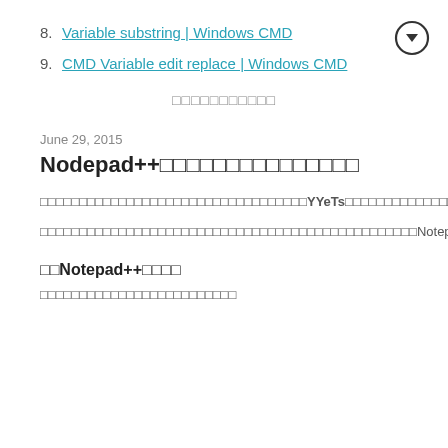8. Variable substring | Windows CMD
9. CMD Variable edit replace | Windows CMD
□□□□□□□□□□□
June 29, 2015
Nodepad++□□□□□□□□□□□□□□□
□□□□□□□□□□□□□□□□□□□□□□□□□□□□□□□□□□YYeTs□□□□□□□□□□□□□□□□□□□□□□□□□□□□□□□□□□□□□□□□□□□□□□□□□□□□
□□□□□□□□□□□□□□□□□□□□□□□□□□□□□□□□□□□□□□□□□□□□□□□□Notepad++□□□□□□□□□
□□Notepad++□□□□
□□□□□□□□□□□□□□□□□□□□□□□□□